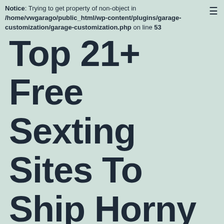Notice: Trying to get property of non-object in /home/vwgarago/public_html/wp-content/plugins/garage-customization/garage-customization.php on line 53
Top 21+ Free Sexting Sites To Ship Horny Nsfw Texts On-line